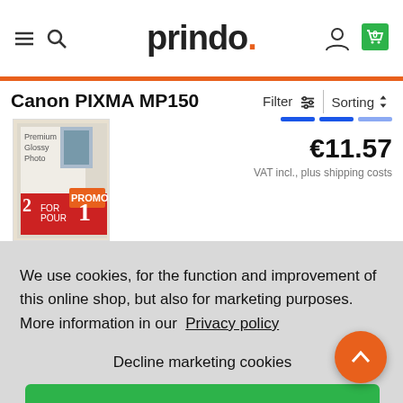[Figure (screenshot): Prindo.com e-commerce website header with hamburger menu, search icon, Prindo logo, user icon, and green shopping cart with 0 items]
Canon PIXMA MP150
Filter   Sorting
[Figure (photo): Product image: Canon photo paper Premium Glossy PROMO 2 for 1 packaging]
€11.57
VAT incl., plus shipping costs
We use cookies, for the function and improvement of this online shop, but also for marketing purposes. More information in our  Privacy policy
Decline marketing cookies
Allow all cookies ✓